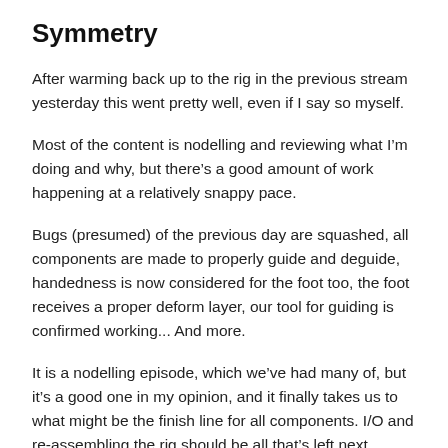Symmetry
After warming back up to the rig in the previous stream yesterday this went pretty well, even if I say so myself.
Most of the content is nodelling and reviewing what I'm doing and why, but there's a good amount of work happening at a relatively snappy pace.
Bugs (presumed) of the previous day are squashed, all components are made to properly guide and deguide, handedness is now considered for the foot too, the foot receives a proper deform layer, our tool for guiding is confirmed working... And more.
It is a nodelling episode, which we've had many of, but it's a good one in my opinion, and it finally takes us to what might be the finish line for all components. I/O and re-assembling the rig should be all that's left next